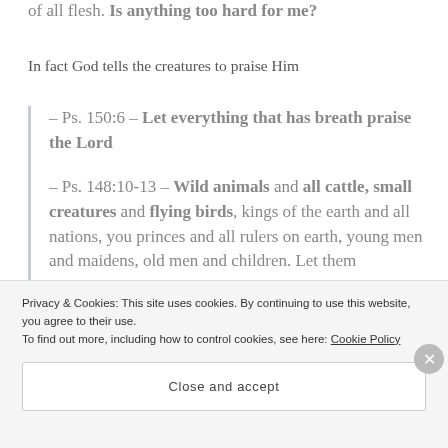of all flesh. Is anything too hard for me?
In fact God tells the creatures to praise Him
– Ps. 150:6 – Let everything that has breath praise the Lord
– Ps. 148:10-13 – Wild animals and all cattle, small creatures and flying birds, kings of the earth and all nations, you princes and all rulers on earth, young men and maidens, old men and children. Let them
Privacy & Cookies: This site uses cookies. By continuing to use this website, you agree to their use. To find out more, including how to control cookies, see here: Cookie Policy
Close and accept